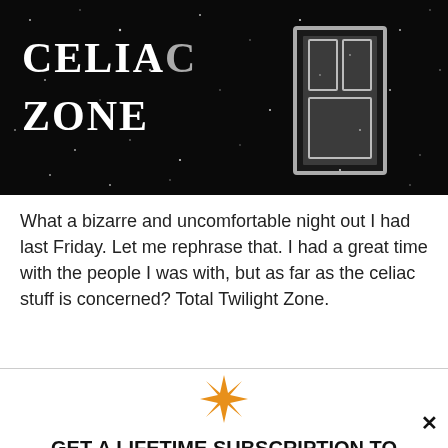[Figure (illustration): Dark starry background image with white text reading 'CELIAC ZONE' on the left side and a glowing door on the right side, styled like a Twilight Zone parody.]
What a bizarre and uncomfortable night out I had last Friday. Let me rephrase that. I had a great time with the people I was with, but as far as the celiac stuff is concerned? Total Twilight Zone.
[Figure (other): Orange star/asterisk decorative icon]
GET A LIFETIME SUBSCRIPTION TO THE GLUTEN DUDE APP. NO MORE MONTHLY FEES!!
DETAILS